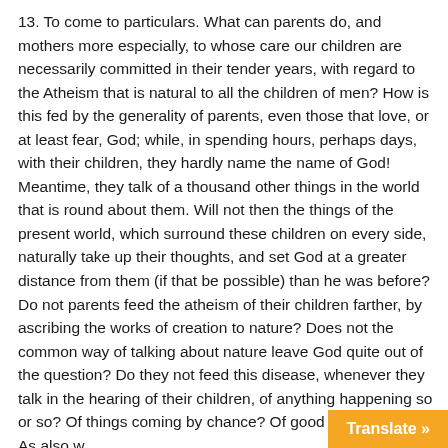13. To come to particulars. What can parents do, and mothers more especially, to whose care our children are necessarily committed in their tender years, with regard to the Atheism that is natural to all the children of men? How is this fed by the generality of parents, even those that love, or at least fear, God; while, in spending hours, perhaps days, with their children, they hardly name the name of God! Meantime, they talk of a thousand other things in the world that is round about them. Will not then the things of the present world, which surround these children on every side, naturally take up their thoughts, and set God at a greater distance from them (if that be possible) than he was before? Do not parents feed the atheism of their children farther, by ascribing the works of creation to nature? Does not the common way of talking about nature leave God quite out of the question? Do they not feed this disease, whenever they talk in the hearing of their children, of anything happening so or so? Of things coming by chance? Of good or ill fortune? As also when they ascribe this or that event to the wisdom or power o
Translate »